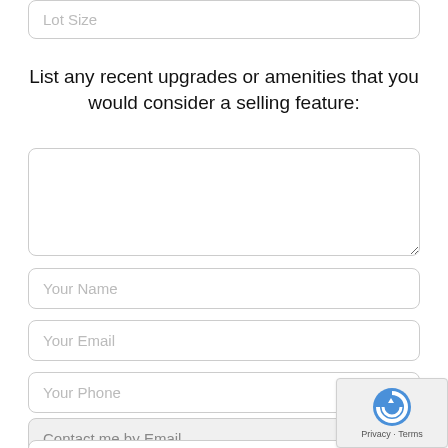Lot Size
List any recent upgrades or amenities that you would consider a selling feature:
Your Name
Your Email
Your Phone
Contact me by Email
Optional Message